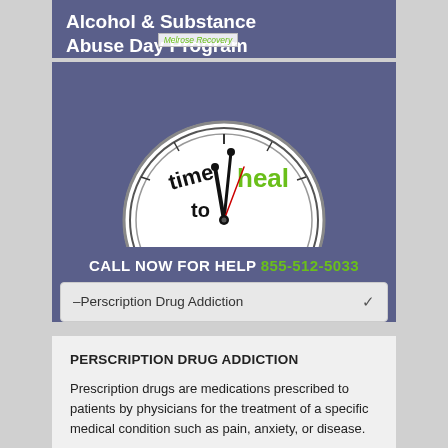Alcohol & Substance Abuse Day Program
[Figure (illustration): Clock illustration with text 'time to heal' written on the face, with clock hands pointing near 12 o'clock position. White clock face with black text and green 'heal' text.]
CALL NOW FOR HELP 855-512-5033
–Perscription Drug Addiction
PERSCRIPTION DRUG ADDICTION
Prescription drugs are medications prescribed to patients by physicians for the treatment of a specific medical condition such as pain, anxiety, or disease.